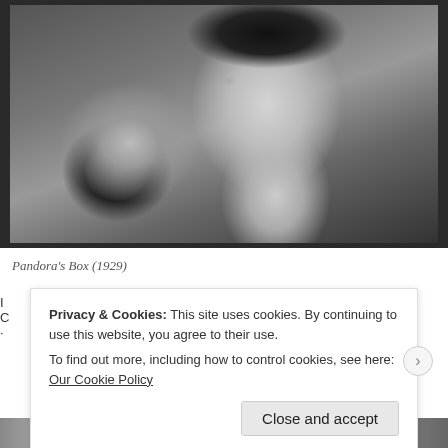[Figure (photo): Black and white film still showing a woman with dark bob haircut looking at the camera, hand reaching toward a round object, from Pandora's Box (1929)]
Pandora's Box (1929)
Privacy & Cookies: This site uses cookies. By continuing to use this website, you agree to their use.
To find out more, including how to control cookies, see here: Our Cookie Policy